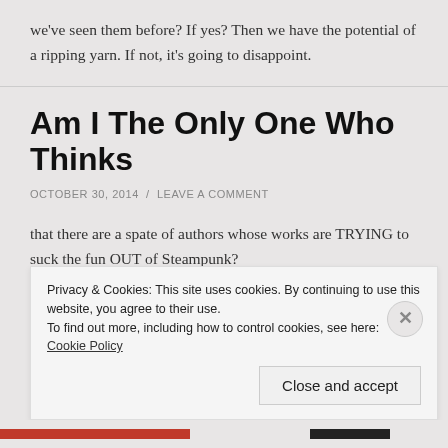we've seen them before? If yes? Then we have the potential of a ripping yarn. If not, it's going to disappoint.
Am I The Only One Who Thinks
OCTOBER 30, 2014 / LEAVE A COMMENT
that there are a spate of authors whose works are TRYING to suck the fun OUT of Steampunk?
Privacy & Cookies: This site uses cookies. By continuing to use this website, you agree to their use.
To find out more, including how to control cookies, see here: Cookie Policy
Close and accept